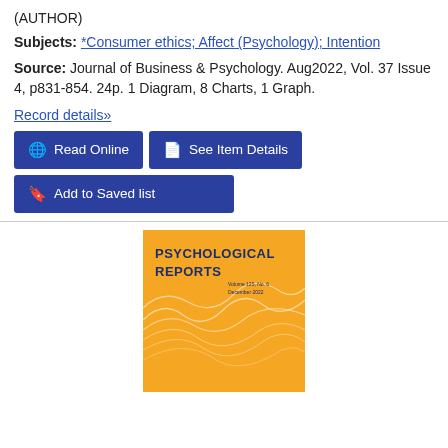(AUTHOR)
Subjects: *Consumer ethics; Affect (Psychology); Intention
Source: Journal of Business & Psychology. Aug2022, Vol. 37 Issue 4, p831-854. 24p. 1 Diagram, 8 Charts, 1 Graph.
Record details»
Read Online
See Item Details
Add to Saved list
[Figure (illustration): Book cover of 'Psychological Reports' journal with orange wavy abstract design background]